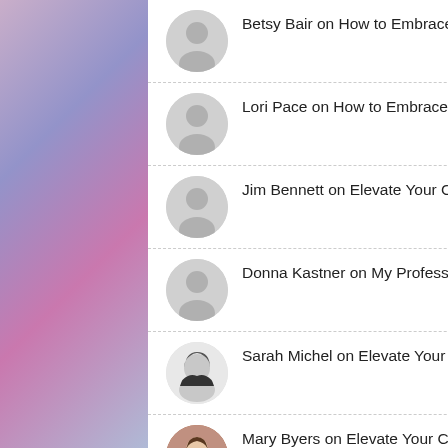Betsy Bair on How to Embrace–and Achieve–Goals to Increase BIPOC Representation at Your Conference
Lori Pace on How to Embrace–and Achieve–Goals to Increase BIPOC Representation at Your Conference
Jim Bennett on Elevate Your Conference Education
Donna Kastner on My Professional Home
Sarah Michel on Elevate Your Conference Education
Mary Byers on Elevate Your Conference Education
Digital Signage Solutions to Boost Your Brand on Your Senses Are Your Raw Information Learning